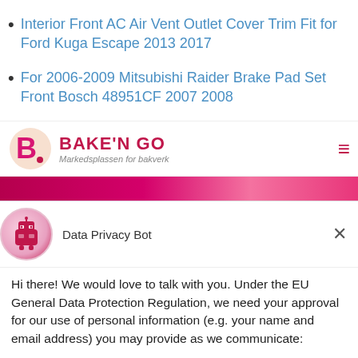Interior Front AC Air Vent Outlet Cover Trim Fit for Ford Kuga Escape 2013 2017
For 2006-2009 Mitsubishi Raider Brake Pad Set Front Bosch 48951CF 2007 2008
[Figure (logo): Bake'N Go logo with stylized B icon, text 'BAKE'N GO' in red, tagline 'Markedsplassen for bakverk' and hamburger menu icon]
[Figure (screenshot): Pink/magenta banner strip from the Bake'N Go website]
Data Privacy Bot
Hi there! We would love to talk with you. Under the EU General Data Protection Regulation, we need your approval for our use of personal information (e.g. your name and email address) you may provide as we communicate:
Yes, I Accept
No, Not Now